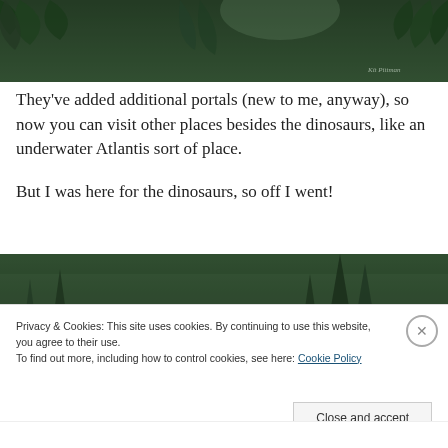[Figure (illustration): Dark green illustrated jungle/forest scene with ferns and palm-like foliage, signature 'Kit Pittman' in lower right corner]
They've added additional portals (new to me, anyway), so now you can visit other places besides the dinosaurs, like an underwater Atlantis sort of place.
But I was here for the dinosaurs, so off I went!
[Figure (illustration): Dark green illustrated prehistoric forest scene with tall conifer trees in misty atmosphere]
Privacy & Cookies: This site uses cookies. By continuing to use this website, you agree to their use.
To find out more, including how to control cookies, see here: Cookie Policy
Close and accept